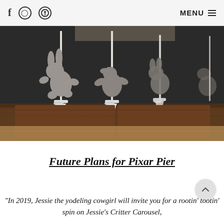f  [instagram]  [pinterest]   MENU ≡
[Figure (photo): Clay sculpt models of cartoon animal figures (rabbit, duck/dinosaur, and bear) mounted on white carousel poles and stands on a dark wooden base — maquettes for a carousel ride attraction.]
Future Plans for Pixar Pier
"In 2019, Jessie the yodeling cowgirl will invite you for a rootin' tootin' spin on Jessie's Critter Carousel,